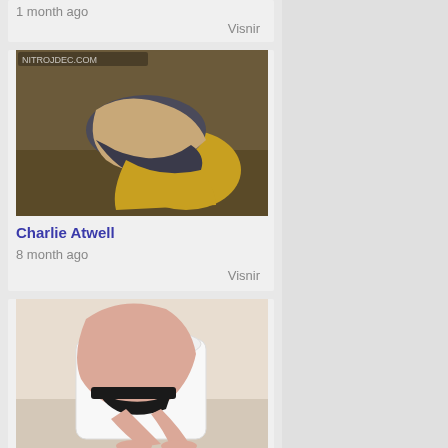1 month ago
Visnir
[Figure (photo): Photo with watermark nitrojdec.com showing a person in a bent-over pose wearing yellow and dark clothing]
Charlie Atwell
8 month ago
Visnir
[Figure (photo): Photo showing a person seated on a toilet, light-colored skin, bathroom setting]
Nordisk D...